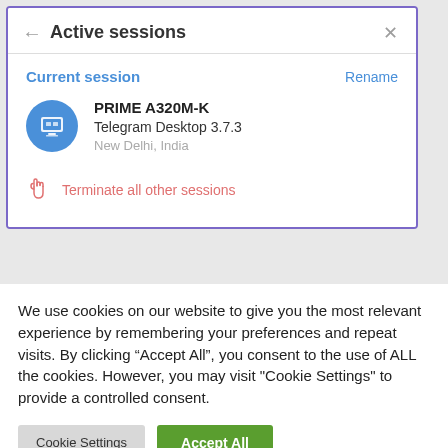[Figure (screenshot): Telegram Active sessions dialog showing current session on PRIME A320M-K device with Telegram Desktop 3.7.3, located in New Delhi, India. Includes a 'Terminate all other sessions' option.]
We use cookies on our website to give you the most relevant experience by remembering your preferences and repeat visits. By clicking “Accept All”, you consent to the use of ALL the cookies. However, you may visit "Cookie Settings" to provide a controlled consent.
Cookie Settings
Accept All